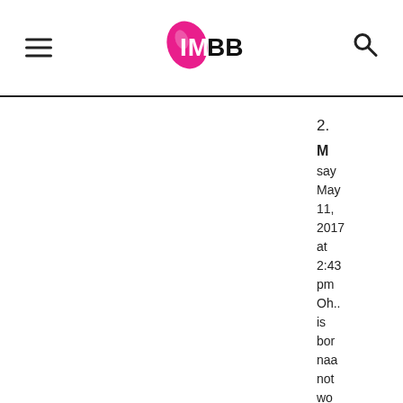IMBB (logo with hamburger menu and search icon)
2.
[commenter name]
say
May 11, 2017 at 2:43 pm
Oh... is born naa not wo tho